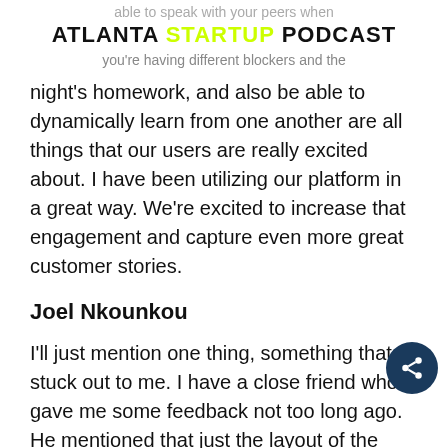able to speak with your peers when ATLANTA STARTUP PODCAST you're having different blockers and the
night's homework, and also be able to dynamically learn from one another are all things that our users are really excited about. I have been utilizing our platform in a great way. We're excited to increase that engagement and capture even more great customer stories.
Joel Nkounkou
I'll just mention one thing, something that stuck out to me. I have a close friend who gave me some feedback not too long ago. He mentioned that just the layout of the platform itself, he